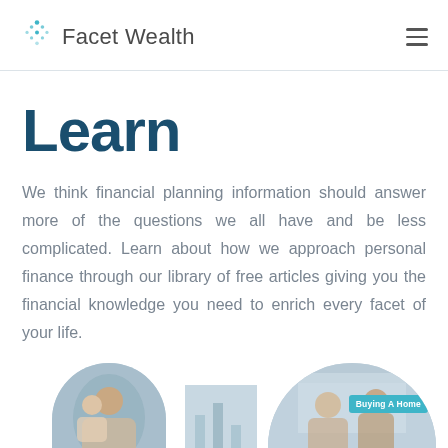Facet Wealth
Learn
We think financial planning information should answer more of the questions we all have and be less complicated. Learn about how we approach personal finance through our library of free articles giving you the financial knowledge you need to enrich every facet of your life.
[Figure (photo): Two photo thumbnails partially visible at the bottom of the page: left shows a parent with child outdoors, right shows people in a kitchen/home setting. A teal 'Buying A Home' tag label is overlaid on the right image.]